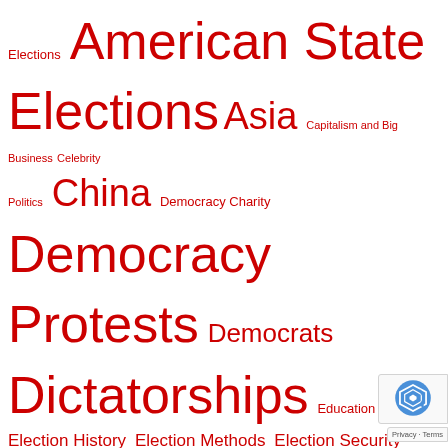[Figure (infographic): Tag cloud of political topics in red text of varying sizes, including: Elections, American State Elections, Asia, Capitalism and Big Business, Celebrity Politics, China, Democracy Charity, Democracy Protests, Democrats, Dictatorships, Education, Election History, Election Methods, Election Security, Election Transparency, Europe, Internet and Democracy, Journalism and Free Speech, Middle East, Minority Voting Rights, Money Politics, New York City and State Elections, Political Artwork, Political Dissidents, Political Lobbying, Redistricting, Republicans, Russia, Socialist Labor, Social Media and Democracy, South America, Spying]